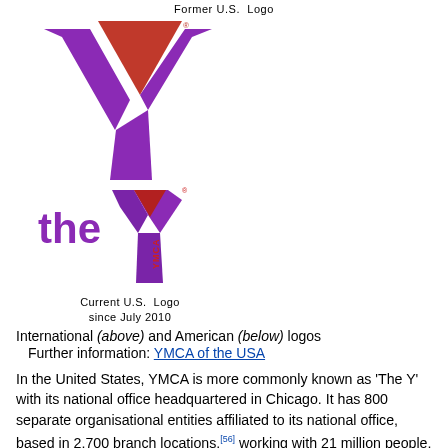Former U.S. Logo
[Figure (logo): Former YMCA international logo: stylized Y shape in red triangle above purple curved shape]
[Figure (logo): Current U.S. YMCA logo since July 2010: 'the Y' in purple with YMCA text, large stylized Y in purple and red]
Current U.S. Logo since July 2010
International (above) and American (below) logos
Further information: YMCA of the USA
In the United States, YMCA is more commonly known as 'The Y' with its national office headquartered in Chicago. It has 800 separate organisational entities affiliated to its national office, based in 2,700 branch locations,[56] working with 21 million people, to "strengthen communities through youth development, healthy living and social responsibility."[57] It has about 19,000 staff and 600,000 volunteers.
Its major programs include after-school activities, day care, youth work and physical fitness. A large number of its service locations have gyms, weight rooms, swimming pools, and sports courts